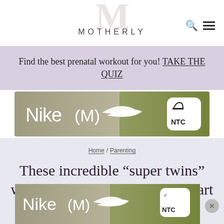MOTHERLY
Find the best prenatal workout for you! TAKE THE QUIZ
[Figure (photo): Nike (M) maternity advertisement banner with swoosh logo and NTC badge]
Home / Parenting
These incredible “super twins” were conceived three weeks apart and their story is amazing
[Figure (photo): Nike (M) maternity advertisement banner repeated at bottom with close button]